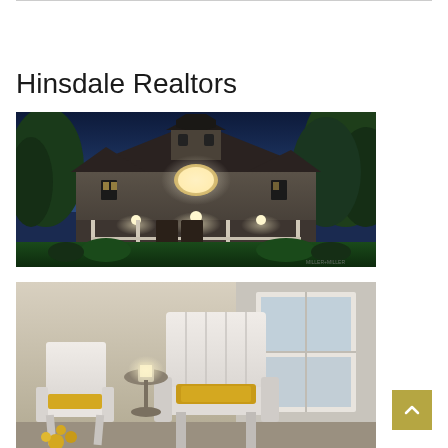Hinsdale Realtors
[Figure (photo): Night-time exterior photo of a large Victorian-style shingle house illuminated with warm lights, dark blue sky background, lush green trees surrounding, wide wraparound porch with white railings, prominent peaked roofline with tower element. Watermark reads MILLER+MILLER.]
[Figure (photo): Partial view of a porch or outdoor seating area with white Adirondack chairs and yellow accent cushions/decor, lantern visible, daytime setting.]